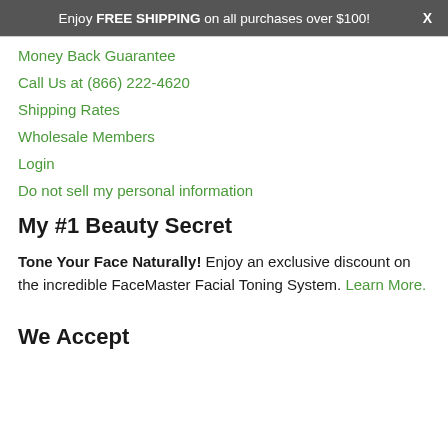Enjoy FREE SHIPPING on all purchases over $100!   X
Money Back Guarantee
Call Us at (866) 222-4620
Shipping Rates
Wholesale Members
Login
Do not sell my personal information
My #1 Beauty Secret
Tone Your Face Naturally! Enjoy an exclusive discount on the incredible FaceMaster Facial Toning System. Learn More.
We Accept